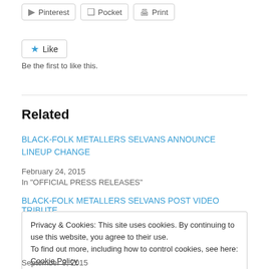[Figure (screenshot): Three buttons: Pinterest, Pocket, Print]
[Figure (screenshot): Like button with star icon]
Be the first to like this.
Related
BLACK-FOLK METALLERS SELVANS ANNOUNCE LINEUP CHANGE
February 24, 2015
In "OFFICIAL PRESS RELEASES"
BLACK-FOLK METALLERS SELVANS POST VIDEO TRIBUTE
Privacy & Cookies: This site uses cookies. By continuing to use this website, you agree to their use.
To find out more, including how to control cookies, see here: Cookie Policy
September 8, 2015